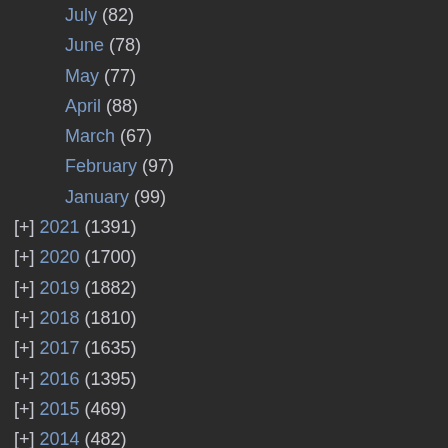July (82)
June (78)
May (77)
April (88)
March (67)
February (97)
January (99)
[+] 2021 (1391)
[+] 2020 (1700)
[+] 2019 (1882)
[+] 2018 (1810)
[+] 2017 (1635)
[+] 2016 (1395)
[+] 2015 (469)
[+] 2014 (482)
[+] 2013 (570)
[+] 2012 (791)
[+] 2011 (937)